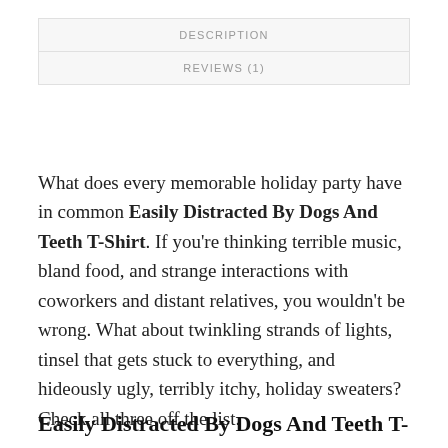DESCRIPTION
REVIEWS (1)
What does every memorable holiday party have in common Easily Distracted By Dogs And Teeth T-Shirt. If you're thinking terrible music, bland food, and strange interactions with coworkers and distant relatives, you wouldn't be wrong. What about twinkling strands of lights, tinsel that gets stuck to everything, and hideously ugly, terribly itchy, holiday sweaters? Check all three off the list.
Easily Distracted By Dogs And Teeth T-